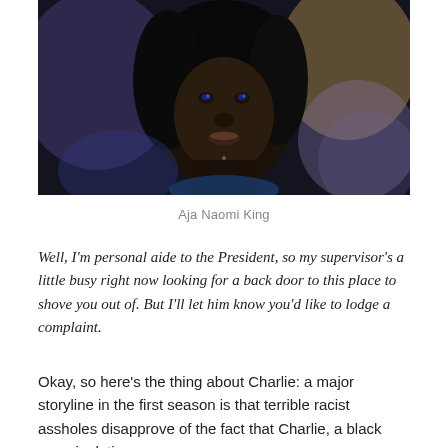[Figure (photo): Close-up photo of Aja Naomi King, a woman with long dark hair, against a dark blurred background with blue and purple tones.]
Aja Naomi King
Well, I'm personal aide to the President, so my supervisor's a little busy right now looking for a back door to this place to shove you out of. But I'll let him know you'd like to lodge a complaint.
Okay, so here's the thing about Charlie: a major storyline in the first season is that terrible racist assholes disapprove of the fact that Charlie, a black man, is dating